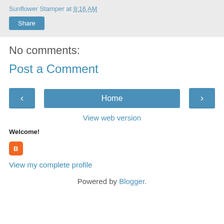Sunflower Stamper at 9:16 AM
Share
No comments:
Post a Comment
‹  Home  ›
View web version
Welcome!
[Figure (logo): Blogger orange logo icon]
View my complete profile
Powered by Blogger.